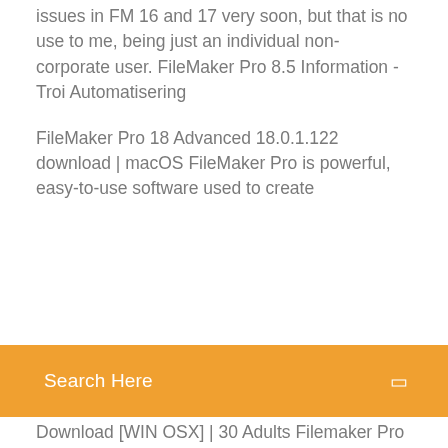issues in FM 16 and 17 very soon, but that is no use to me, being just an individual non-corporate user. FileMaker Pro 8.5 Information - Troi Automatisering
FileMaker Pro 18 Advanced 18.0.1.122 download | macOS FileMaker Pro is powerful, easy-to-use software used to create
Search Here
Download [WIN OSX] | 30 Aults Filemaker Pro 16 Advanced Free Download Filemaker Pro 16 Advanced Free Download Latest Version for Windows. It is full offline installer standalone setup of Filemaker Pro 16 Advanced crack for 32/64. Filemaker Pro 16 Advanced Free Download Latest Version for MAC OS. It is full offline installer standalone setup of Filemaker... Filemaker Pro 11 Compatibility - downloadbuyonlineoem.services Filemaker Pro 11 Compatibility el capitan office mac 64 bit windows 10 media creation tool free windows 81 enterprise product keys free